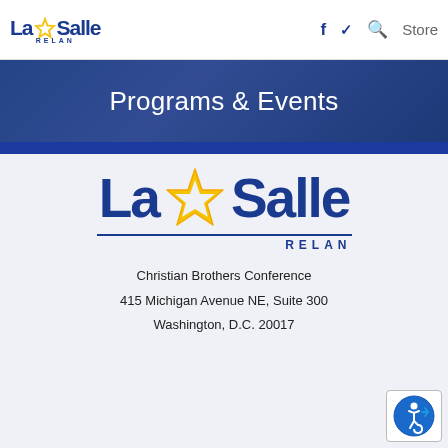[Figure (logo): La Salle RELAN header logo (small) with star icon, blue text]
f  ✓  Q  Store
[Figure (photo): Banner background photo of students at computers, overlaid with blue tint]
Programs & Events
[Figure (logo): La Salle RELAN large logo with yellow star, blue text, and RELAN subtitle]
Christian Brothers Conference
415 Michigan Avenue NE, Suite 300
Washington, D.C. 20017
[Figure (illustration): Accessibility icon (wheelchair user symbol) in blue circle]